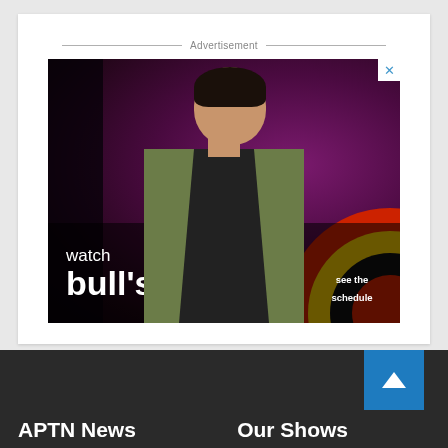Advertisement
[Figure (photo): TV advertisement for 'Bull's Eye' show on APTN. Shows a smiling man in a green jacket against a purple/dark background with concentric red, yellow, and black circles in the bottom right. Text reads 'watch bull's eye' with a 'see the schedule' call to action button.]
APTN News
Our Shows